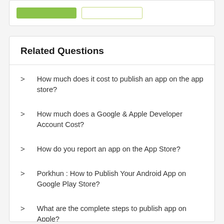Related Questions
How much does it cost to publish an app on the app store?
How much does a Google & Apple Developer Account Cost?
How do you report an app on the App Store?
Porkhun : How to Publish Your Android App on Google Play Store?
What are the complete steps to publish app on Apple?
How can I publish My iPhone App by myself?
How to add app privacy details on the App Store?